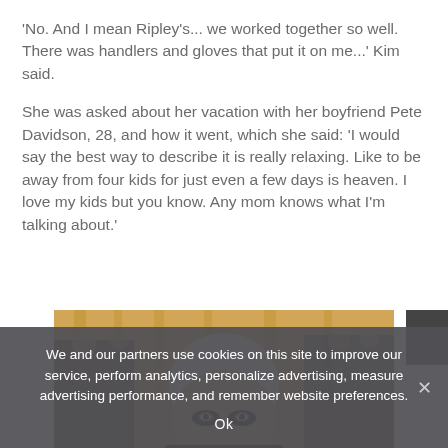'No. And I mean Ripley's... we worked together so well. There was handlers and gloves that put it on me...' Kim said.
She was asked about her vacation with her boyfriend Pete Davidson, 28, and how it went, which she said: 'I would say the best way to describe it is really relaxing. Like to be away from four kids for just even a few days is heaven. I love my kids but you know. Any mom knows what I'm talking about.'
[Figure (photo): Photo of Kim Kardashian at an event, with photographers and orange backdrop in background, showing her face with short platinum hair and heavy eye makeup]
We and our partners use cookies on this site to improve our service, perform analytics, personalize advertising, measure advertising performance, and remember website preferences.
Ok